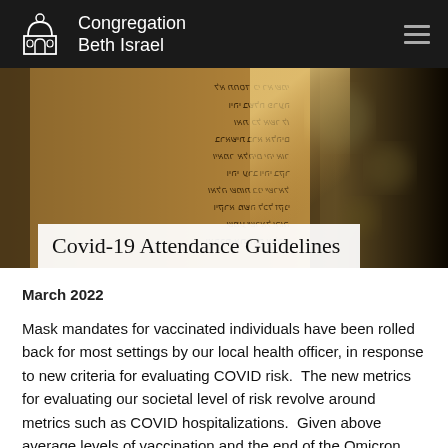Congregation Beth Israel
[Figure (photo): Close-up photo of ancient Hebrew/Aramaic manuscript text inscribed on stone or parchment, with warm golden-brown tones and a blurred corridor in the background.]
Covid-19 Attendance Guidelines
March 2022
Mask mandates for vaccinated individuals have been rolled back for most settings by our local health officer, in response to new criteria for evaluating COVID risk.  The new metrics for evaluating our societal level of risk revolve around metrics such as COVID hospitalizations.  Given above average levels of vaccination and the end of the Omicron surge, all Bay Area